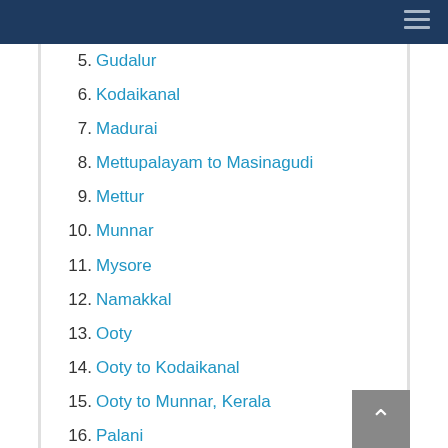5. Gudalur
6. Kodaikanal
7. Madurai
8. Mettupalayam to Masinagudi
9. Mettur
10. Munnar
11. Mysore
12. Namakkal
13. Ooty
14. Ooty to Kodaikanal
15. Ooty to Munnar, Kerala
16. Palani
17. Salem
18. Tiruchengode
19. Tiruchirapalli
20. Valparai